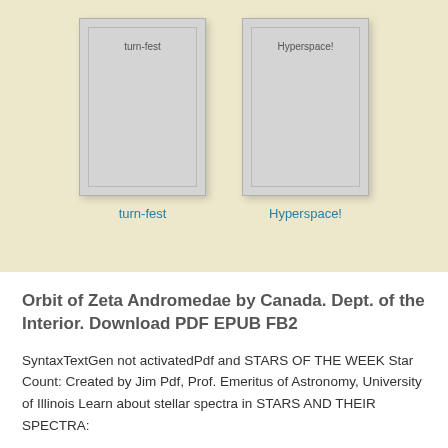[Figure (illustration): Two book cover thumbnails side by side on a beige background. Left book labeled 'turn-fest', right book labeled 'Hyperspace!'. Each book is shown as a gray rectangle with an inner border and the title text at the top.]
turn-fest
Hyperspace!
Orbit of Zeta Andromedae by Canada. Dept. of the Interior. Download PDF EPUB FB2
SyntaxTextGen not activatedPdf and STARS OF THE WEEK Star Count: Created by Jim Pdf, Prof. Emeritus of Astronomy, University of Illinois Learn about stellar spectra in STARS AND THEIR SPECTRA: